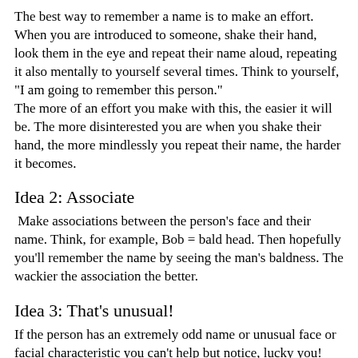The best way to remember a name is to make an effort. When you are introduced to someone, shake their hand, look them in the eye and repeat their name aloud, repeating it also mentally to yourself several times. Think to yourself, "I am going to remember this person."
The more of an effort you make with this, the easier it will be. The more disinterested you are when you shake their hand, the more mindlessly you repeat their name, the harder it becomes.
Idea 2: Associate
Make associations between the person's face and their name. Think, for example, Bob = bald head. Then hopefully you'll remember the name by seeing the man's baldness. The wackier the association the better.
Idea 3: That's unusual!
If the person has an extremely odd name or unusual face or facial characteristic you can't help but notice, lucky you! Your task just got easier. For example, there used to be a judge on Masterchef New Zealand (back in the days when we watched Masterchef) called Josh Emmett. I always thought of him as "the man with the